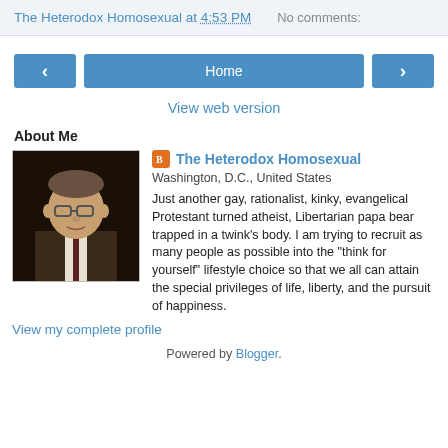The Heterodox Homosexual at 4:53 PM    No comments:
Home
View web version
About Me
[Figure (photo): Profile photo of a middle-aged man with glasses wearing a dark jacket and tie]
The Heterodox Homosexual
Washington, D.C., United States

Just another gay, rationalist, kinky, evangelical Protestant turned atheist, Libertarian papa bear trapped in a twink's body. I am trying to recruit as many people as possible into the "think for yourself" lifestyle choice so that we all can attain the special privileges of life, liberty, and the pursuit of happiness.
View my complete profile
Powered by Blogger.